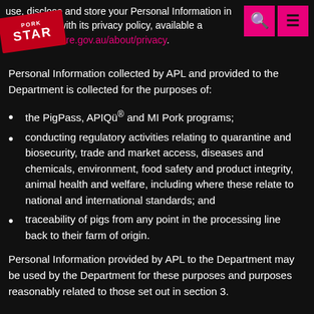use, disclose and store your Personal Information in accordance with its privacy policy, available at www.agriculture.gov.au/about/privacy.
Personal Information collected by APL and provided to the Department is collected for the purposes of:
the PigPass, APIQü® and MI Pork programs;
conducting regulatory activities relating to quarantine and biosecurity, trade and market access, diseases and chemicals, environment, food safety and product integrity, animal health and welfare, including where these relate to national and international standards; and
traceability of pigs from any point in the processing line back to their farm of origin.
Personal Information provided by APL to the Department may be used by the Department for these purposes and purposes reasonably related to those set out in section 3.